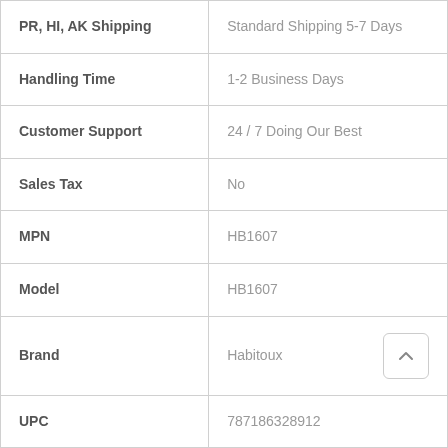| Field | Value |
| --- | --- |
| PR, HI, AK Shipping | Standard Shipping 5-7 Days |
| Handling Time | 1-2 Business Days |
| Customer Support | 24 / 7 Doing Our Best |
| Sales Tax | No |
| MPN | HB1607 |
| Model | HB1607 |
| Brand | Habitoux |
| UPC | 787186328912 |